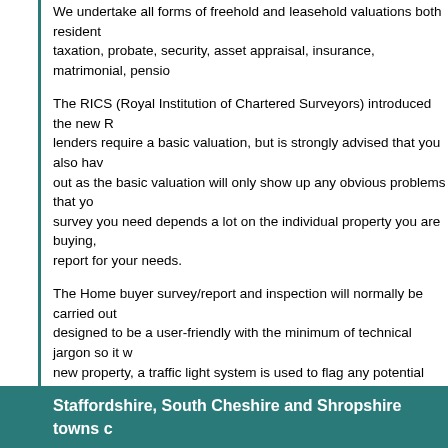We undertake all forms of freehold and leasehold valuations both residential and commercial for taxation, probate, security, asset appraisal, insurance, matrimonial, pension
The RICS (Royal Institution of Chartered Surveyors) introduced the new R lenders require a basic valuation, but is strongly advised that you also have out as the basic valuation will only show up any obvious problems that you survey you need depends a lot on the individual property you are buying, report for your needs.
The Home buyer survey/report and inspection will normally be carried out designed to be a user-friendly with the minimum of technical jargon so it w new property, a traffic light system is used to flag any potential issues now
Contact Rory Mack Associates for Home Buyer and Valuation S
Property for sale or let in Staffordshire, South C
Visit the Rory Mack website for the latest commercial and residential prop type.
We have a vast range of properties including office accommodation, retail industrial/warehousing units, licensed premises and guest houses to name development/investment opportunities.
Staffordshire, South Cheshire and Shropshire towns c